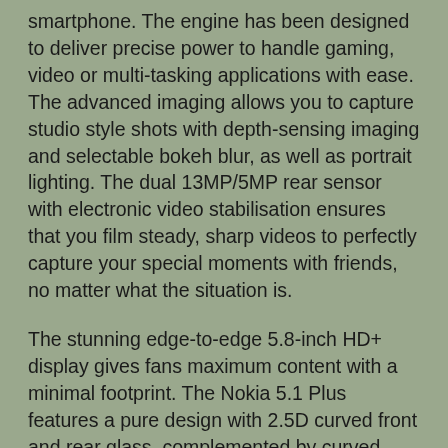smartphone. The engine has been designed to deliver precise power to handle gaming, video or multi-tasking applications with ease. The advanced imaging allows you to capture studio style shots with depth-sensing imaging and selectable bokeh blur, as well as portrait lighting. The dual 13MP/5MP rear sensor with electronic video stabilisation ensures that you film steady, sharp videos to perfectly capture your special moments with friends, no matter what the situation is.
The stunning edge-to-edge 5.8-inch HD+ display gives fans maximum content with a minimal footprint. The Nokia 5.1 Plus features a pure design with 2.5D curved front and rear glass, complemented by curved edges and a CNC-machined metal camera bezel with optical glass window and high gloss finish frame. At around 8mm thin, the ergonomic design with continuous curvature makes for the ultimate feel in the hand. The Nokia 5.1 Plus's die cast full metal chassis with a polycarbonate frame is quality tested in extreme temperatures and drop tested to ensure that it meets the exacting quality standards for a Nokia phone.